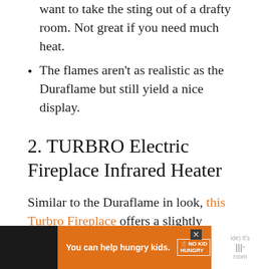A finer heating element. Ideal for those that want to take the sting out of a drafty room. Not great if you need much heat.
The flames aren't as realistic as the Duraflame but still yield a nice display.
2. TURBRO Electric Fireplace Infrared Heater
Similar to the Duraflame in look, this Turbro Fireplace offers a slightly different style at a lower price tag.
Comparison to Duraflame Electric Fireplace:
[Figure (other): Advertisement banner: orange background with text 'You can help hungry kids.' No Kid Hungry logo and 'LEARN HOW' button. Right side shows partial text on white background.]